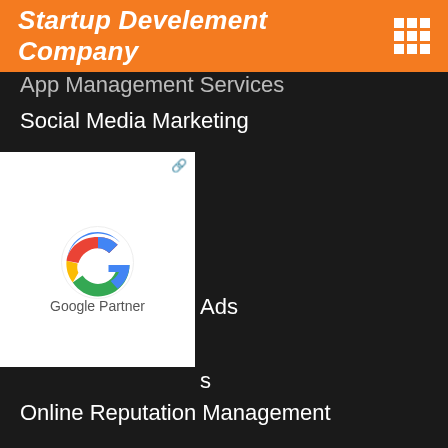Startup Develement Company
App Management Services (partial)
Social Media Marketing
[Figure (logo): Google Partner badge with Google G logo and external link icon]
Ads (partial)
s (partial)
Online Reputation Management
Content Marketing
DEVELOPMENT
IOS Development
Android App Development
Website Development
Why Design & Development
Graphic Designing Services
LET'S TALK?